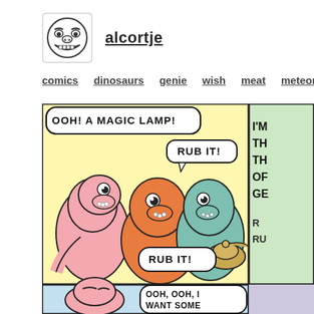[Figure (illustration): Troll face logo/avatar icon in black and white sketch style]
alcortje
comics
dinosaurs
genie
wish
meat
meteor
[Figure (illustration): Comic strip showing cartoon dinosaurs discovering a magic lamp. Panel 1: Three dinosaurs (pink, orange, teal) with speech bubbles saying 'OOH! A MAGIC LAMP!' and 'RUB IT!' twice. A magic lamp is visible. Panel 2 (partially visible): Text 'I'M THE THE OF GE R R RU'. Bottom panel 1: Pink dinosaur with speech bubble 'OOH, OOH, I WANT SOME'. Bottom panel 2 partially visible.]